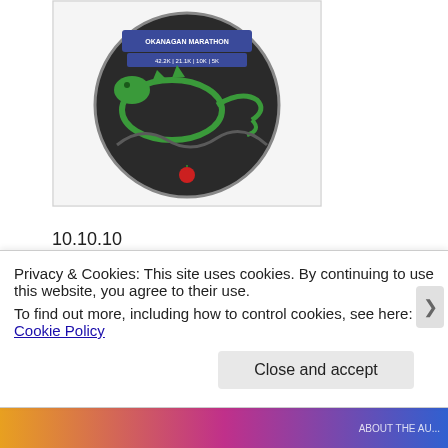[Figure (photo): A dark circular marathon medal/coin with a green dragon design, text reading 'OKANAGAN MARATHON 42.2K | 21.1K | 10K | 5K' on a blue banner at the top, and a small red heart/apple charm pendant.]
10.10.10
So I ran another half-marathon. It was a personal worst, but I expected that going in, so it wasn't a disappointment or anything. At some point in my training, I sprained my ankle. It's an inside sprain, which apparently is rare (thanks, Dr. Google). I think I probably incurred it while dodging around
Privacy & Cookies: This site uses cookies. By continuing to use this website, you agree to their use.
To find out more, including how to control cookies, see here: Cookie Policy
Close and accept